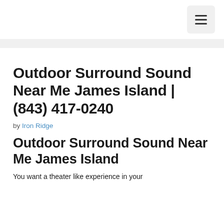≡ (menu button)
Outdoor Surround Sound Near Me James Island | (843) 417-0240
by Iron Ridge
Outdoor Surround Sound Near Me James Island
You want a theater like experience in your